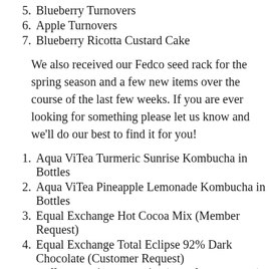5. Blueberry Turnovers
6. Apple Turnovers
7. Blueberry Ricotta Custard Cake
We also received our Fedco seed rack for the spring season and a few new items over the course of the last few weeks. If you are ever looking for something please let us know and we'll do our best to find it for you!
1. Aqua ViTea Turmeric Sunrise Kombucha in Bottles
2. Aqua ViTea Pineapple Lemonade Kombucha in Bottles
3. Equal Exchange Hot Cocoa Mix (Member Request)
4. Equal Exchange Total Eclipse 92% Dark Chocolate (Customer Request)
5. Bulk Organic Star Anise (Member Request)